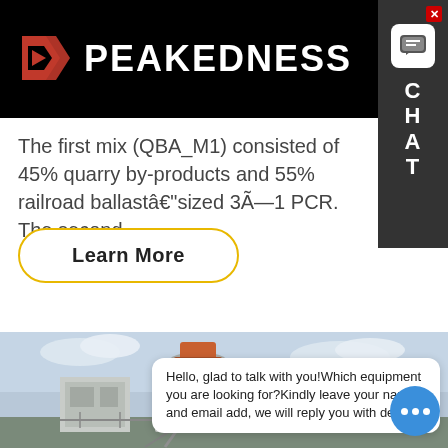PEAKEDNESS
The first mix (QBA_M1) consisted of 45% quarry by-products and 55% railroad ballastâ€“sized 3Ã—1 PCR. The second .
Learn More
[Figure (photo): Industrial quarry or mining equipment — a large cone crusher or similar heavy machinery with white/grey metal structure, conveyor elements, and orange-tipped components, shot outdoors against a cloudy sky.]
Hello, glad to talk with you!Which equipment you are looking for?Kindly leave your name and email add, we will reply you with detail.